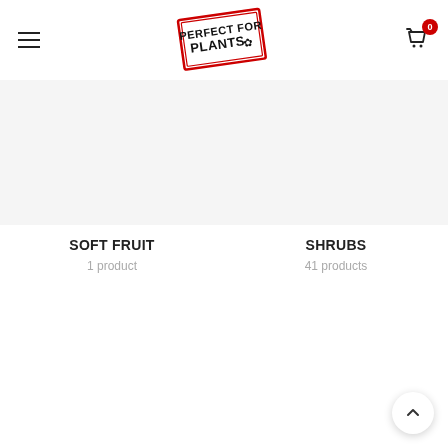Perfect For Plants — navigation header with logo, hamburger menu, and cart icon
SOFT FRUIT
1 product
SHRUBS
41 products